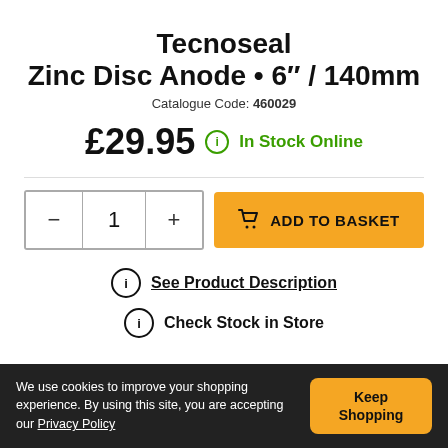Tecnoseal Zinc Disc Anode • 6" / 140mm
Catalogue Code: 460029
£29.95  ⓘ  In Stock Online
− 1 +   ADD TO BASKET
ⓘ See Product Description
ⓘ Check Stock in Store
We use cookies to improve your shopping experience. By using this site, you are accepting our Privacy Policy
Keep Shopping